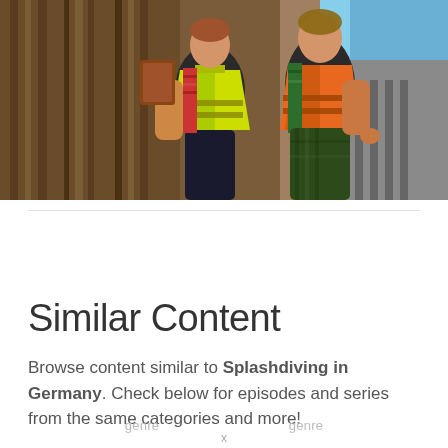[Figure (photo): Two construction workers wearing safety vests (one yellow, one orange) at a construction site, one holding a clipboard/tablet]
Similar Content
Browse content similar to Splashdiving in Germany. Check below for episodes and series from the same categories and more!
genre   genre